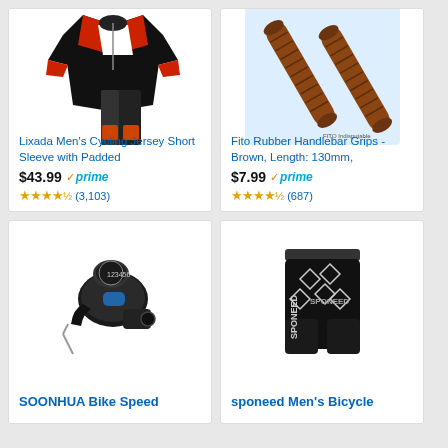[Figure (photo): Lixada Men's Cycling Jersey Short Sleeve with Padded Shorts - black red white cycling outfit]
Lixada Men's Cycling Jersey Short Sleeve with Padded
$43.99 prime
★★★★½ (3,103)
[Figure (photo): Fito Rubber Handlebar Grips - Brown, Length: 130mm - two brown textured rubber grips]
Fito Rubber Handlebar Grips - Brown, Length: 130mm,
$7.99 prime
★★★★½ (687)
[Figure (photo): SOONHUA Bike Speed shifter - black bicycle gear shifter with cable]
SOONHUA Bike Speed
[Figure (photo): sponeed Men's Bicycle shorts - black padded cycling shorts with white logo]
sponeed Men's Bicycle